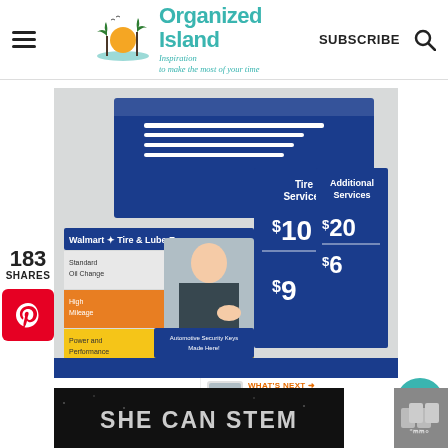Organized Island — Inspiration to make the most of your time | SUBSCRIBE
183 SHARES
[Figure (photo): Walmart Tire & Lube Express price board showing Standard Oil Change $31.88, High Mileage $35.88, Power and Performance $49.88; Tire Services $10, $5, $9; Additional Services $20, $6. Person examining tires visible in center.]
WHAT'S NEXT → Timesaving Travel Apps
[Figure (photo): SHE CAN STEM banner/advertisement at bottom of page]